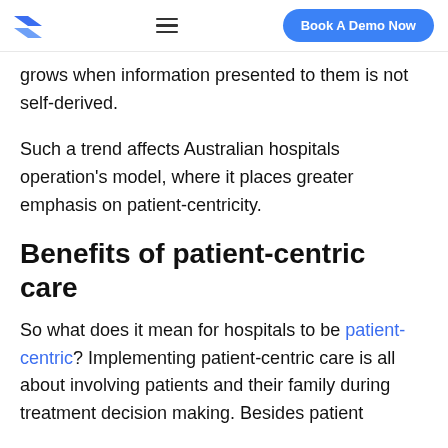Book A Demo Now
grows when information presented to them is not self-derived.
Such a trend affects Australian hospitals operation's model, where it places greater emphasis on patient-centricity.
Benefits of patient-centric care
So what does it mean for hospitals to be patient-centric? Implementing patient-centric care is all about involving patients and their family during treatment decision making. Besides patient